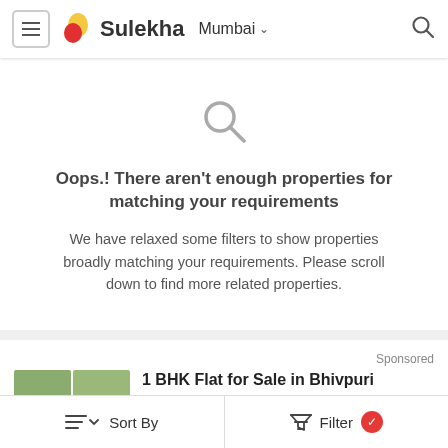Sulekha | Mumbai
[Figure (screenshot): Search icon (magnifying glass) indicating no results]
Oops.! There aren't enough properties for matching your requirements
We have relaxed some filters to show properties broadly matching your requirements. Please scroll down to find more related properties.
Sponsored
1 BHK Flat for Sale in Bhivpuri
Bhivpuri, Karjat  View Map
Near Bhivpuri Road Railway Station
Riva Rythm by Sahbhagi Infra Private Limited
₹15 Lakhs  EMI starts at ₹11.63K/month
Sort By    Filter